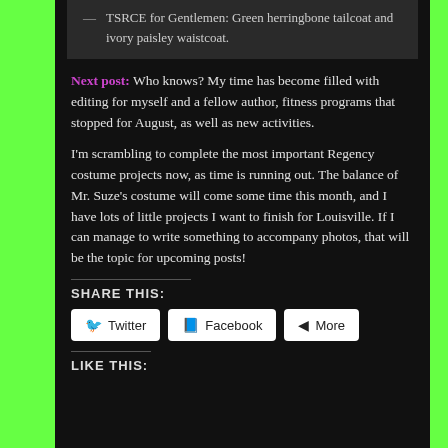— TSRCE for Gentlemen: Green herringbone tailcoat and ivory paisley waistcoat.
Next post: Who knows? My time has become filled with editing for myself and a fellow author, fitness programs that stopped for August, as well as new activities.
I'm scrambling to complete the most important Regency costume projects now, as time is running out. The balance of Mr. Suze's costume will come some time this month, and I have lots of little projects I want to finish for Louisville. If I can manage to write something to accompany photos, that will be the topic for upcoming posts!
SHARE THIS:
Twitter  Facebook  More
LIKE THIS: